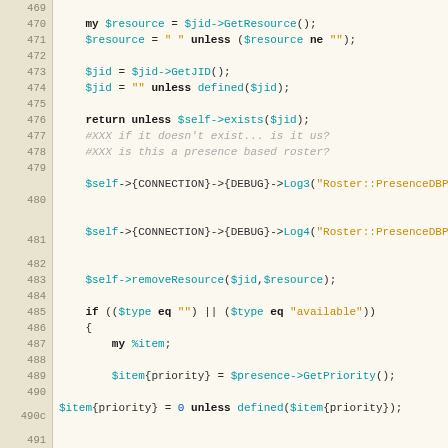[Figure (screenshot): Perl source code listing with line numbers 469-496, showing a subroutine body handling Jabber/XMPP presence parsing with resource and JID lookups, roster operations, and presence type handling.]